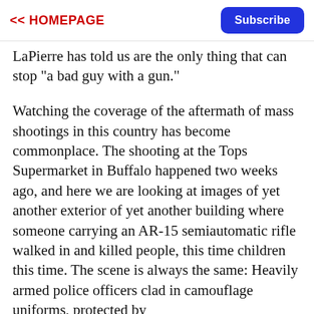<< HOMEPAGE  Subscribe
LaPierre has told us are the only thing that can stop "a bad guy with a gun."
Watching the coverage of the aftermath of mass shootings in this country has become commonplace. The shooting at the Tops Supermarket in Buffalo happened two weeks ago, and here we are looking at images of yet another exterior of yet another building where someone carrying an AR-15 semiautomatic rifle walked in and killed people, this time children this time. The scene is always the same: Heavily armed police officers clad in camouflage uniforms, protected by